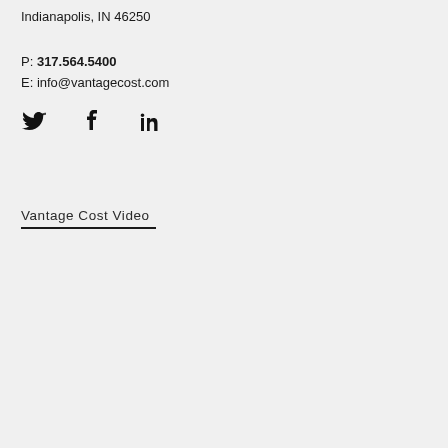Indianapolis, IN 46250
P: 317.564.5400
E: info@vantagecost.com
[Figure (illustration): Social media icons: Twitter bird, Facebook f, LinkedIn in]
Vantage Cost Video